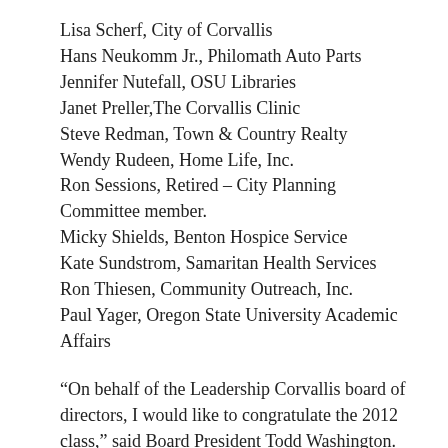Lisa Scherf, City of Corvallis
Hans Neukomm Jr., Philomath Auto Parts
Jennifer Nutefall, OSU Libraries
Janet Preller, The Corvallis Clinic
Steve Redman, Town & Country Realty
Wendy Rudeen, Home Life, Inc.
Ron Sessions, Retired – City Planning Committee member.
Micky Shields, Benton Hospice Service
Kate Sundstrom, Samaritan Health Services
Ron Thiesen, Community Outreach, Inc.
Paul Yager, Oregon State University Academic Affairs
“On behalf of the Leadership Corvallis board of directors, I would like to congratulate the 2012 class,” said Board President Todd Washington. “They were engaged, inspired participants and I